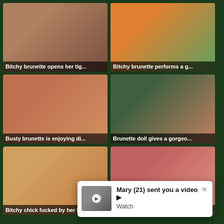[Figure (screenshot): Video thumbnail 1 - brunette bedroom scene]
Bitchy brunette opens her tig...
[Figure (screenshot): Video thumbnail 2 - colorful room scene]
Bitchy brunette performs a g...
[Figure (screenshot): Video thumbnail 3 - bed scene with two people]
Busty brunette is enjoying di...
[Figure (screenshot): Video thumbnail 4 - couch scene]
Brunette doll gives a gorgeo...
[Figure (screenshot): Video thumbnail 5 - camera scene]
Bitchy chick fucked by her lo...
[Figure (screenshot): Video thumbnail 6 - red couch scene]
Uncle gets nicely sucked by ...
Mary (21) sent you a video ▶ Watch